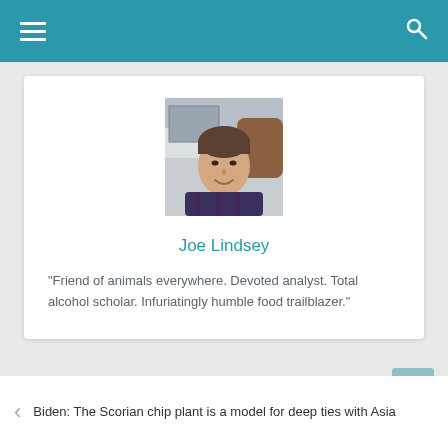[Figure (photo): Headshot of Joe Lindsey, a young man with short dark hair, wearing a dark blue plaid shirt, seated in front of a computer monitor]
Joe Lindsey
"Friend of animals everywhere. Devoted analyst. Total alcohol scholar. Infuriatingly humble food trailblazer."
Biden: The Scorian chip plant is a model for deep ties with Asia